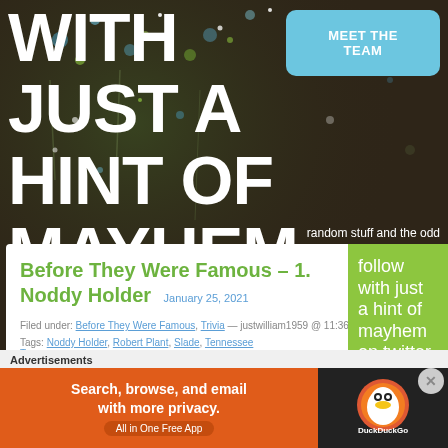[Figure (photo): Dark brown/olive colored hero background with decorative bokeh sparkles and floral elements in blues, greens, and whites]
WITH JUST A HINT OF MAYHEM
MEET THE TEAM
random stuff and the odd
Before They Were Famous – 1. Noddy Holder
January 25, 2021
Filed under: Before They Were Famous, Trivia — justwilliam1959 @ 11:36 pm
Tags: Noddy Holder, Robert Plant, Slade, Tennessee Teens
follow with just a hint of mayhem on twitter
Advertisements
[Figure (infographic): DuckDuckGo advertisement banner: orange left panel reading 'Search, browse, and email with more privacy. All in One Free App' and dark right panel with DuckDuckGo logo]